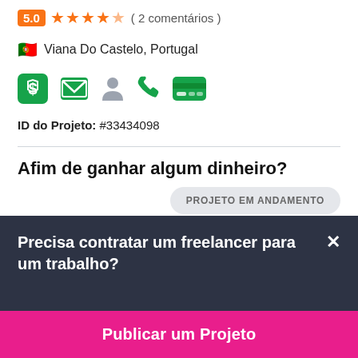5.0 ★★★★★( 2 comentários )
🇵🇹 Viana Do Castelo, Portugal
[Figure (infographic): Row of 5 green verification/contact icons: shield with dollar, envelope, person, phone, credit card]
ID do Projeto: #33434098
Afim de ganhar algum dinheiro?
PROJETO EM ANDAMENTO
Seu endereço de e-mail
Precisa contratar um freelancer para um trabalho?
Publicar um Projeto